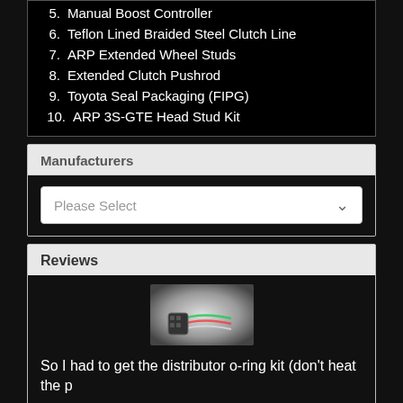5. Manual Boost Controller
6. Teflon Lined Braided Steel Clutch Line
7. ARP Extended Wheel Studs
8. Extended Clutch Pushrod
9. Toyota Seal Packaging (FIPG)
10. ARP 3S-GTE Head Stud Kit
Manufacturers
Please Select
Reviews
[Figure (photo): Photo of a distributor o-ring kit with wiring]
So I had to get the distributor o-ring kit (don't heat the p